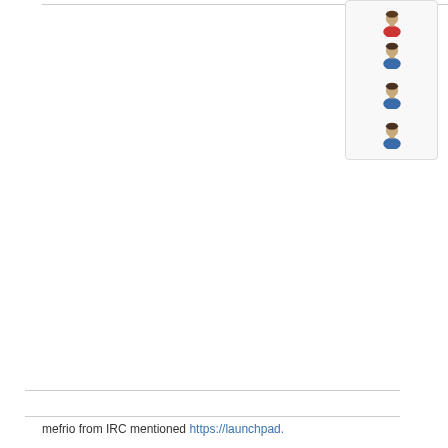[Figure (illustration): A sidebar panel showing four user avatar icons stacked vertically. The first avatar has a red/orange top, the second has a blue top, the third has a blue top, and the fourth has a blue top. All have brown hair.]
mefrio from IRC mentioned https://launchpad.